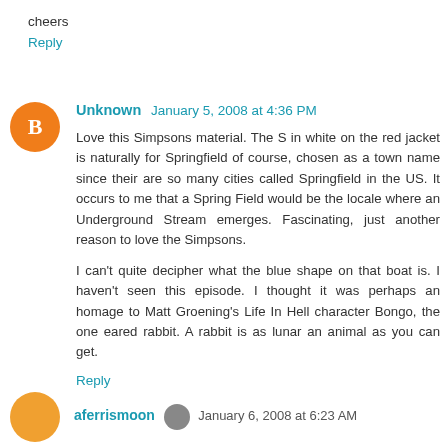cheers
Reply
Unknown  January 5, 2008 at 4:36 PM
Love this Simpsons material. The S in white on the red jacket is naturally for Springfield of course, chosen as a town name since their are so many cities called Springfield in the US. It occurs to me that a Spring Field would be the locale where an Underground Stream emerges. Fascinating, just another reason to love the Simpsons.

I can't quite decipher what the blue shape on that boat is. I haven't seen this episode. I thought it was perhaps an homage to Matt Groening's Life In Hell character Bongo, the one eared rabbit. A rabbit is as lunar an animal as you can get.
Reply
aferrismoon  January 6, 2008 at 6:23 AM